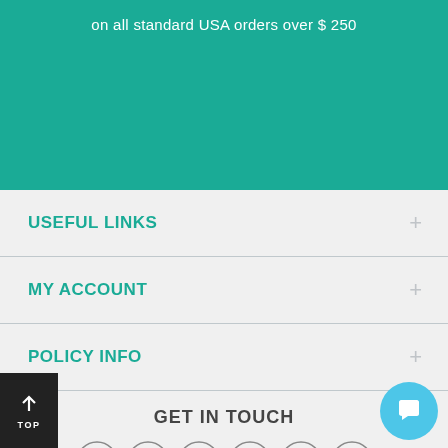on all standard USA orders over $ 250
USEFUL LINKS
MY ACCOUNT
POLICY INFO
GET IN TOUCH
+1-646 948 3525
info@onlinebluepills.com